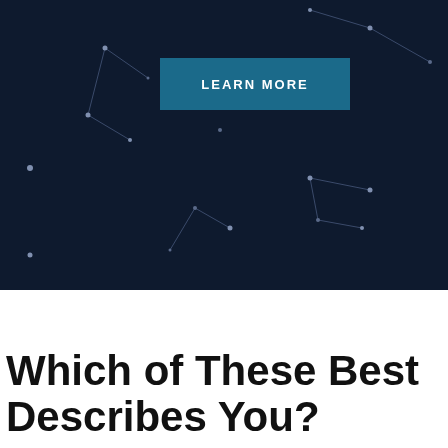[Figure (illustration): Dark navy background with constellation-style line art connecting small dots (stars), with a teal 'LEARN MORE' button overlaid in the upper-center area]
Which of These Best Describes You?